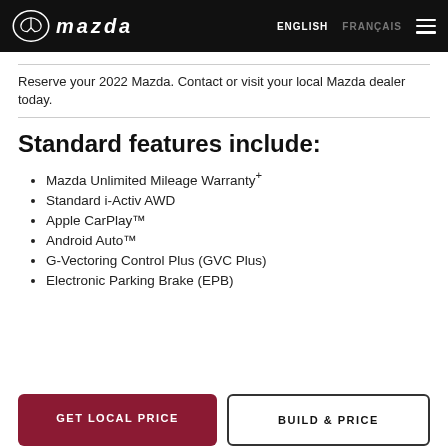mazda | ENGLISH | FRANÇAIS
Reserve your 2022 Mazda. Contact or visit your local Mazda dealer today.
Standard features include:
Mazda Unlimited Mileage Warranty+
Standard i-Activ AWD
Apple CarPlay™
Android Auto™
G-Vectoring Control Plus (GVC Plus)
Electronic Parking Brake (EPB)
GET LOCAL PRICE
BUILD & PRICE